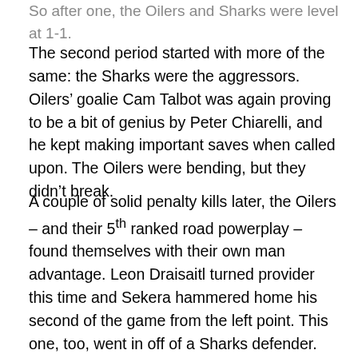So after one, the Oilers and Sharks were level at 1-1.
The second period started with more of the same: the Sharks were the aggressors. Oilers’ goalie Cam Talbot was again proving to be a bit of genius by Peter Chiarelli, and he kept making important saves when called upon. The Oilers were bending, but they didn’t break.
A couple of solid penalty kills later, the Oilers – and their 5th ranked road powerplay – found themselves with their own man advantage. Leon Draisaitl turned provider this time and Sekera hammered home his second of the game from the left point. This one, too, went in off of a Sharks defender. Good job, little buddy. I shouldn’t be too hard on the guy – I remember my first hockey game, too.